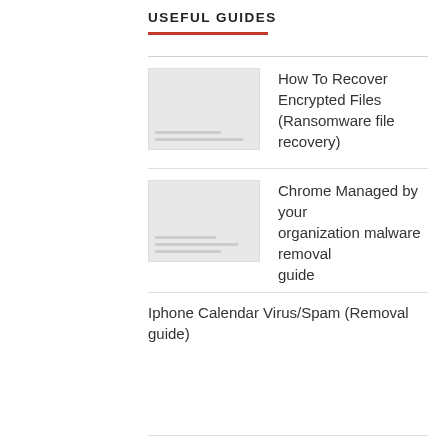USEFUL GUIDES
How To Recover Encrypted Files (Ransomware file recovery)
Chrome Managed by your organization malware removal guide
Iphone Calendar Virus/Spam (Removal guide)